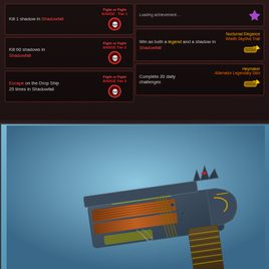[Figure (screenshot): Game UI panel showing challenge rewards for Shadowfall game mode. Left column shows three challenges: Kill 1 shadow in Shadowfall (Fight or Flight Badge - Tier 1), Kill 60 shadows in Shadowfall (Fight or Flight Badge Tier 2), Escape on the Drop Ship 25 times in Shadowfall (Fight or Flight Badge Tier 3). Right column shows: Win as both a legend and a shadow in Shadowfall (Nocturnal Elegance Wraith Skydive Trail reward), Complete 20 daily challenges (Haymaker Alternator Legendary Skin reward).]
[Figure (photo): 3D render of a heavily customized Alternator SMG/pistol weapon skin called Haymaker. The weapon features dark blue-grey metal body with wooden barrel accents in orange-brown tones, decorative spikes/horns on top, gold/yellow striped grip, and elaborate worn textures. Displayed against a blue-grey gradient background.]